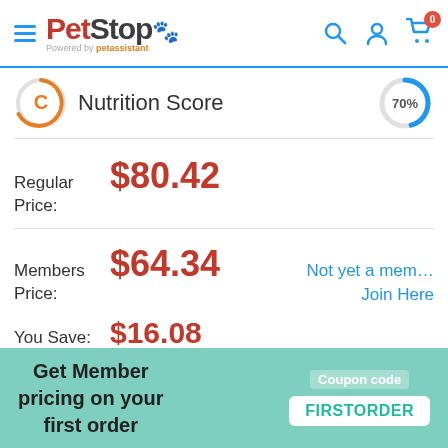PetStop — Powered by petassistant
[Figure (other): Nutrition Score grade circle showing letter C in orange, with text 'Nutrition Score' and a 70% blue donut circle on the right]
Regular Price: $80.42
Members Price: $64.34   Not yet a member? Join Here
You Save: $16.08
Get Member pricing on your first order   Coupon code FIRSTORDER